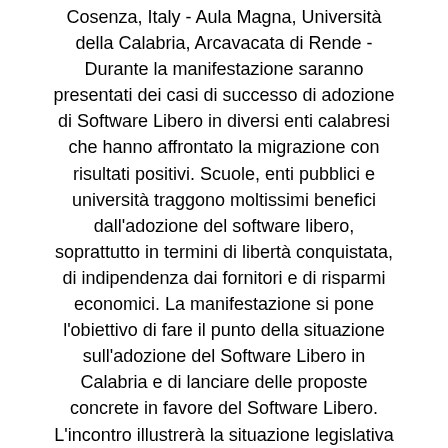Cosenza, Italy - Aula Magna, Università della Calabria, Arcavacata di Rende - Durante la manifestazione saranno presentati dei casi di successo di adozione di Software Libero in diversi enti calabresi che hanno affrontato la migrazione con risultati positivi. Scuole, enti pubblici e università traggono moltissimi benefici dall'adozione del software libero, soprattutto in termini di libertà conquistata, di indipendenza dai fornitori e di risparmi economici. La manifestazione si pone l'obiettivo di fare il punto della situazione sull'adozione del Software Libero in Calabria e di lanciare delle proposte concrete in favore del Software Libero. L'incontro illustrerà la situazione legislativa